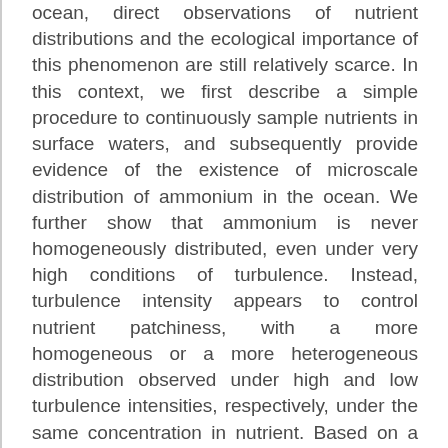ocean, direct observations of nutrient distributions and the ecological importance of this phenomenon are still relatively scarce. In this context, we first describe a simple procedure to continuously sample nutrients in surface waters, and subsequently provide evidence of the existence of microscale distribution of ammonium in the ocean. We further show that ammonium is never homogeneously distributed, even under very high conditions of turbulence. Instead, turbulence intensity appears to control nutrient patchiness, with a more homogeneous or a more heterogeneous distribution observed under high and low turbulence intensities, respectively, under the same concentration in nutrient. Based on a modelling procedure taking into account the stochastic properties of intermittent nutrient distributions and observations carried out on natural phytoplankton communities, we introduce and verify the hypothesis that under nutrient limitation, the “turbulent history” of phytoplankton cells, i.e., the turbulent conditions they experienced in their natural environments,